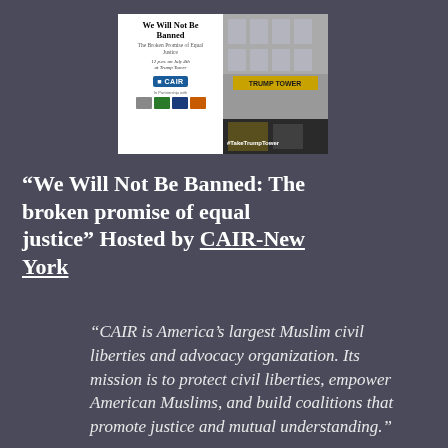[Figure (photo): Event flyer composite image: left side shows white background with text 'We Will Not Be Banned The Broken Promise of Equal Justice' with CAIR logo and partner organization logos, right side shows photo of Trump Tower entrance with #TakeTrumpTower hashtag overlay]
“We Will Not Be Banned: The broken promise of equal justice” Hosted by CAIR-New York
“CAIR is America’s largest Muslim civil liberties and advocacy organization. Its mission is to protect civil liberties, empower American Muslims, and build coalitions that promote justice and mutual understanding.”